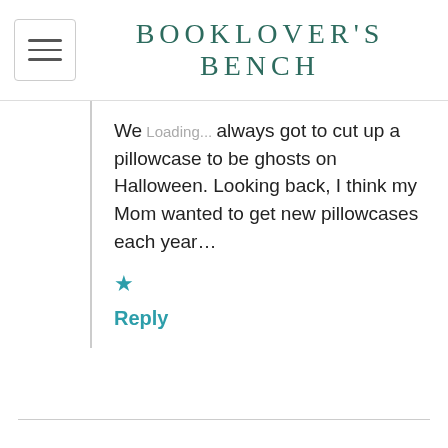BOOKLOVER'S BENCH
We always got to cut up a pillowcase to be ghosts on Halloween. Looking back, I think my Mom wanted to get new pillowcases each year…
★
Reply